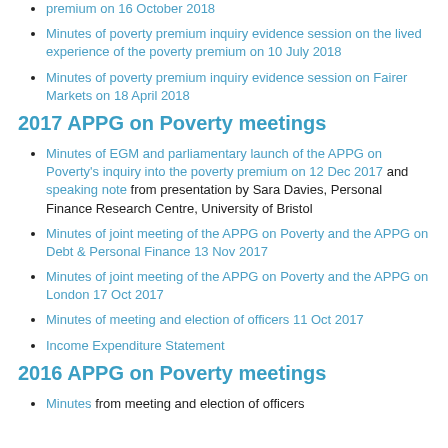Minutes of poverty premium inquiry evidence session on the lived experience of the poverty premium on 16 October 2018
Minutes of poverty premium inquiry evidence session on the lived experience of the poverty premium on 10 July 2018
Minutes of poverty premium inquiry evidence session on Fairer Markets on 18 April 2018
2017 APPG on Poverty meetings
Minutes of EGM and parliamentary launch of the APPG on Poverty's inquiry into the poverty premium on 12 Dec 2017 and speaking note from presentation by Sara Davies, Personal Finance Research Centre, University of Bristol
Minutes of joint meeting of the APPG on Poverty and the APPG on Debt & Personal Finance 13 Nov 2017
Minutes of joint meeting of the APPG on Poverty and the APPG on London 17 Oct 2017
Minutes of meeting and election of officers 11 Oct 2017
Income Expenditure Statement
2016 APPG on Poverty meetings
Minutes from meeting and election of officers